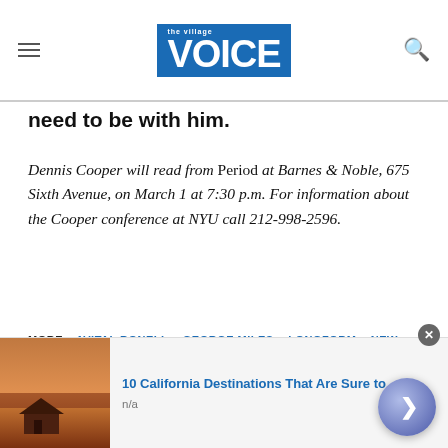the village VOICE
need to be with him.
Dennis Cooper will read from Period at Barnes & Noble, 675 Sixth Avenue, on March 1 at 7:30 p.m. For information about the Cooper conference at NYU call 212-998-2596.
MORE: AVITAL RONELL  GEORGE MILES  LONGFORM  NEW YORK UNIVERSITY  WILLIAM S. BURROUGHS
[Figure (screenshot): Advertisement: 10 California Destinations That Are Sure to — n/a, with a photo of a desert cabin at sunset, a circular navigation arrow button, and a close button.]